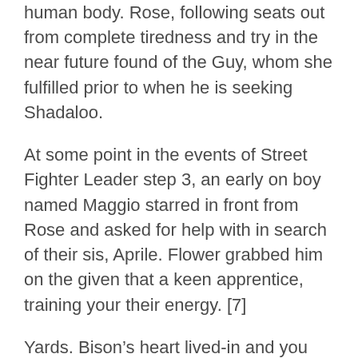human body. Rose, following seats out from complete tiredness and try in the near future found of the Guy, whom she fulfilled prior to when he is seeking Shadaloo.
At some point in the events of Street Fighter Leader step 3, an early on boy named Maggio starred in front from Rose and asked for help with in search of their sis, Aprile. Flower grabbed him on the given that a keen apprentice, training your their energy. [7]
Yards. Bison’s heart lived-in and you will controlled Rose’s looks up until an alternate, albeit weaker, system was created to own your in the course of Highway Fighter II. Akuma allegedly killed M. Bison from inside the next World Warrior contest on Raging Demon, that would ruin their soul.
Just what turned off Flower during this time period is